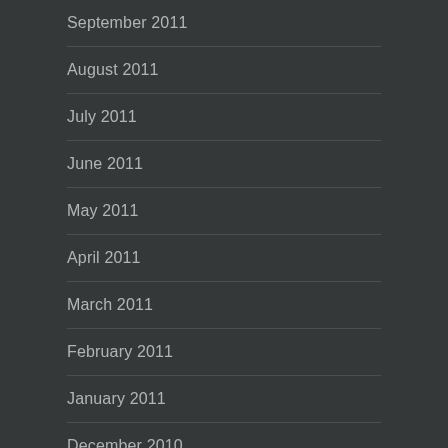September 2011
August 2011
July 2011
June 2011
May 2011
April 2011
March 2011
February 2011
January 2011
December 2010
November 2010